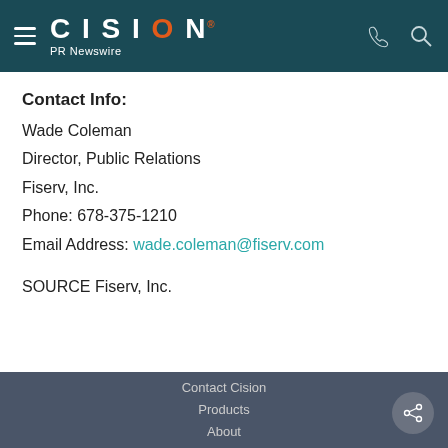CISION PR Newswire
Contact Info:
Wade Coleman
Director, Public Relations
Fiserv, Inc.
Phone: 678-375-1210
Email Address: wade.coleman@fiserv.com
SOURCE Fiserv, Inc.
Contact Cision
Products
About